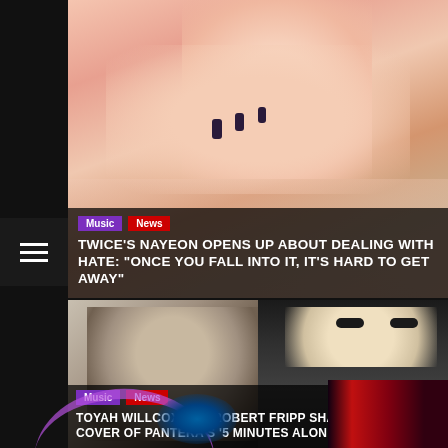[Figure (photo): Article 1 thumbnail: Close-up of TWICE's Nayeon, a young woman smiling, with pink nails near her mouth, soft background with stuffed animal]
Music
News
TWICE'S NAYEON OPENS UP ABOUT DEALING WITH HATE: "ONCE YOU FALL INTO IT, IT'S HARD TO GET AWAY"
[Figure (photo): Article 2 thumbnail: Older bald man in suit on left, performer in black sparkly outfit with sunglasses on right, dark background]
Music
News
TOYAH WILLCOX AND ROBERT FRIPP SHARE ROCKING COVER OF PANTERA'S '5 MINUTES ALONE'
[Figure (photo): Article 3 thumbnail: Gaming/tech themed image with neon purple arc, space/earth view, arcade machines on right with red neon lighting]